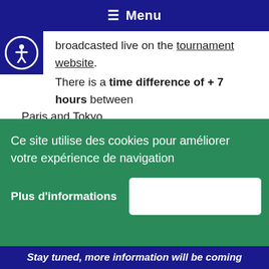☰ Menu
broadcasted live on the tournament website.
There is a time difference of + 7 hours between Paris and Tokyo.
Special coverage in Cécifoot France website
Our website and all our networks Cécifoot France will develop a special coverage so that you can follow this event from France and in French language.
Ce site utilise des cookies pour améliorer votre expérience de navigation
Plus d'informations
Stay tuned, more information will be coming